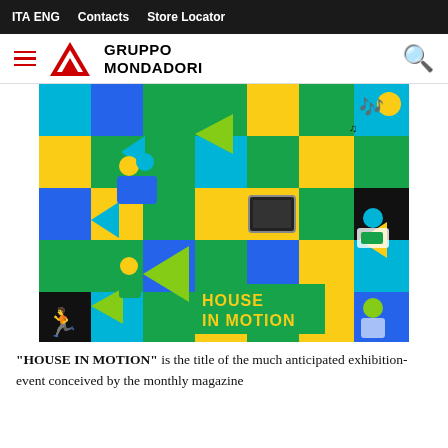ITA ENG   Contacts   Store Locator
[Figure (logo): Gruppo Mondadori logo with red M triangle and company name]
[Figure (illustration): House in Motion colorful graphic illustration with blue, green, yellow and black squares and silhouettes of people in various scenes. Text 'HOUSE IN MOTION' in yellow on green background.]
“HOUSE IN MOTION” is the title of the much anticipated exhibition-event conceived by the monthly magazine